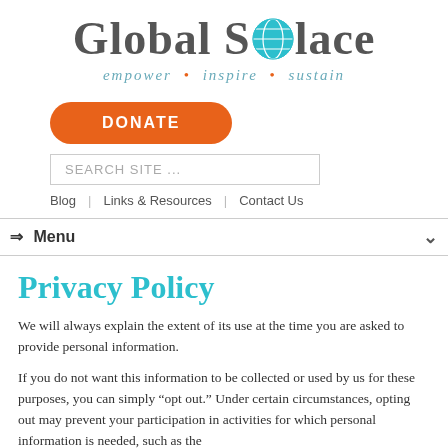[Figure (logo): Global Solace logo with globe icon replacing the 'o' in Solace, tagline: empower · inspire · sustain]
[Figure (other): Orange rounded DONATE button]
[Figure (other): Search site text input box]
Blog   Links & Resources   Contact Us
⇒ Menu
Privacy Policy
We will always explain the extent of its use at the time you are asked to provide personal information.
If you do not want this information to be collected or used by us for these purposes, you can simply "opt out." Under certain circumstances, opting out may prevent your participation in activities for which personal information is needed, such as the